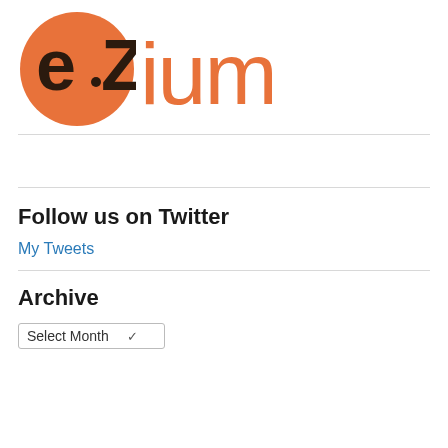[Figure (logo): e·Zium logo: orange circle with 'e·Z' text in dark brown/black, followed by 'ium' in orange rounded font]
Follow us on Twitter
My Tweets
Archive
Select Month